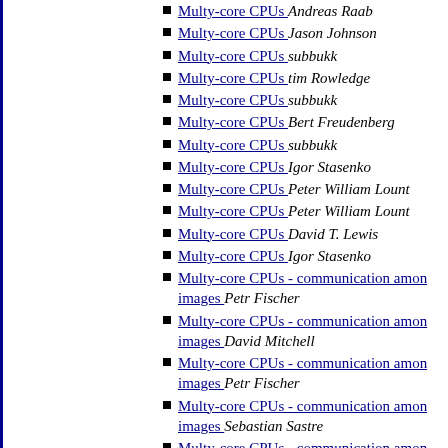Multy-core CPUs  Andreas Raab
Multy-core CPUs  Jason Johnson
Multy-core CPUs  subbukk
Multy-core CPUs  tim Rowledge
Multy-core CPUs  subbukk
Multy-core CPUs  Bert Freudenberg
Multy-core CPUs  subbukk
Multy-core CPUs  Igor Stasenko
Multy-core CPUs  Peter William Lount
Multy-core CPUs  Peter William Lount
Multy-core CPUs  David T. Lewis
Multy-core CPUs  Igor Stasenko
Multy-core CPUs - communication amon... images  Petr Fischer
Multy-core CPUs - communication amon... images  David Mitchell
Multy-core CPUs - communication amon... images  Petr Fischer
Multy-core CPUs - communication amon... images  Sebastian Sastre
Multy-core CPUs - communication amon... images  Jason Johnson
Multy-core CPUs  Jason Johnson
Metrics  Davide Varvello
Metrics  Lukas Rengali